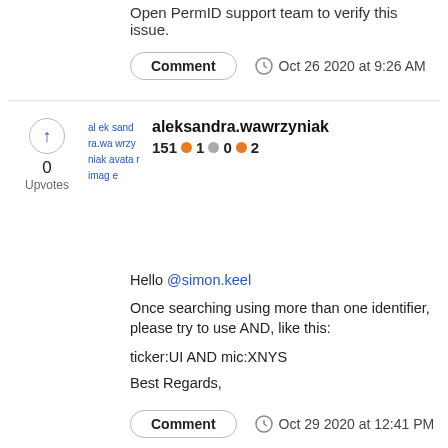Open PermID support team to verify this issue.
Comment   Oct 26 2020 at 9:26 AM
[Figure (other): Broken avatar image for aleksandra.wawrzyniak]
aleksandra.wawrzyniak
151  1  0  2
Hello @simon.keel
Once searching using more than one identifier, please try to use AND, like this:
ticker:UI AND mic:XNYS
Best Regards,
Comment   Oct 29 2020 at 12:41 PM